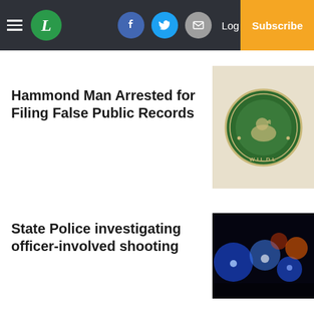L [logo] | Facebook | Twitter | Email | Log In | Subscribe
Hammond Man Arrested for Filing False Public Records
[Figure (logo): Wildlife agency circular badge/seal on beige background, partially cropped on right side]
State Police investigating officer-involved shooting
[Figure (photo): Night scene with blue and red emergency vehicle lights (bokeh), dark background]